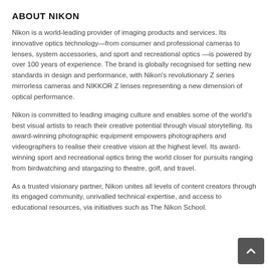ABOUT NIKON
Nikon is a world-leading provider of imaging products and services. Its innovative optics technology—from consumer and professional cameras to lenses, system accessories, and sport and recreational optics —is powered by over 100 years of experience. The brand is globally recognised for setting new standards in design and performance, with Nikon's revolutionary Z series mirrorless cameras and NIKKOR Z lenses representing a new dimension of optical performance.
Nikon is committed to leading imaging culture and enables some of the world's best visual artists to reach their creative potential through visual storytelling. Its award-winning photographic equipment empowers photographers and videographers to realise their creative vision at the highest level. Its award-winning sport and recreational optics bring the world closer for pursuits ranging from birdwatching and stargazing to theatre, golf, and travel.
As a trusted visionary partner, Nikon unites all levels of content creators through its engaged community, unrivalled technical expertise, and access to educational resources, via initiatives such as The Nikon School.